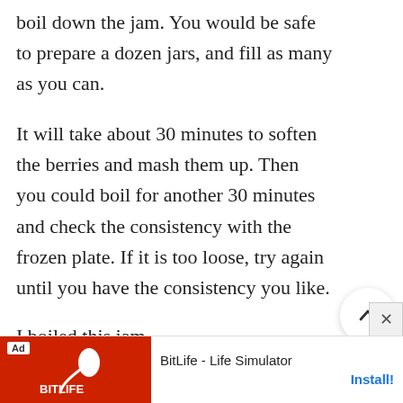boil down the jam. You would be safe to prepare a dozen jars, and fill as many as you can.
It will take about 30 minutes to soften the berries and mash them up. Then you could boil for another 30 minutes and check the consistency with the frozen plate. If it is too loose, try again until you have the consistency you like.
I boiled this jam
https://gardentherapy.ca/stupendously-
[Figure (screenshot): Advertisement banner for BitLife - Life Simulator app with red background, sperm logo, and Install! button]